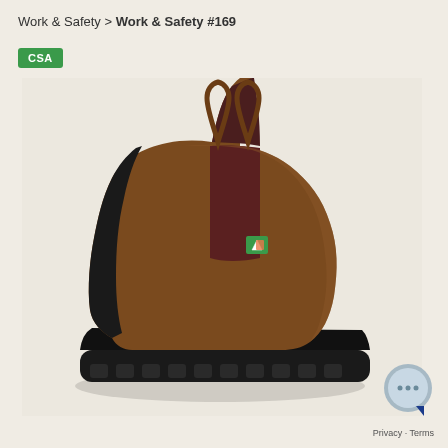Work & Safety > Work & Safety #169
CSA
[Figure (photo): Brown leather Chelsea-style work boot with black rubber toe cap and black lug sole, featuring elastic side panel in dark brown, pull loops at top, and a small green/orange CSA certification badge on the side.]
Privacy · Terms